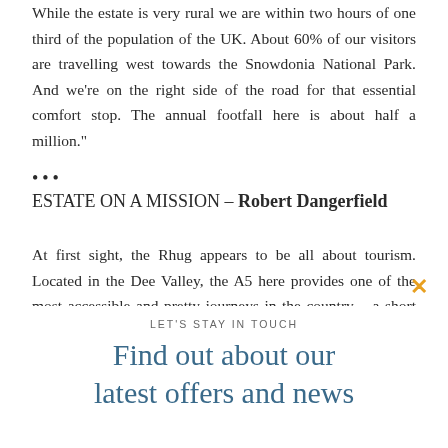While the estate is very rural we are within two hours of one third of the population of the UK. About 60% of our visitors are travelling west towards the Snowdonia National Park. And we're on the right side of the road for that essential comfort stop. The annual footfall here is about half a million."
...
ESTATE ON A MISSION – Robert Dangerfield
At first sight, the Rhug appears to be all about tourism. Located in the Dee Valley, the A5 here provides one of the most accessible and pretty journeys in the country – a short distance beyond the Pontcysyllte Aqueduct world heritage site.
LET'S STAY IN TOUCH
Find out about our latest offers and news